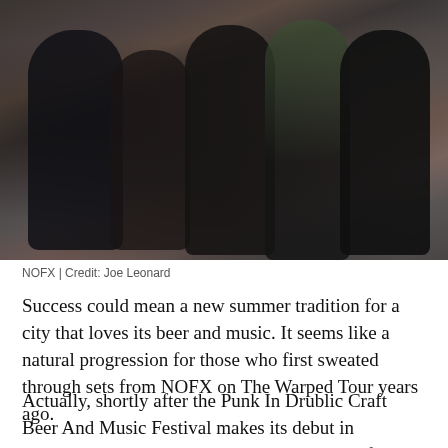[Figure (photo): Group photo of five members of punk band NOFX standing together outdoors, dressed in dark clothing including a person in a green vest/jacket and leather jacket on the right]
NOFX | Credit: Joe Leonard
Success could mean a new summer tradition for a city that loves its beer and music. It seems like a natural progression for those who first sweated through sets from NOFX on The Warped Tour years ago.
Actually, shortly after the Punk In Drublic Craft Beer And Music Festival makes its debut in Philadelphia, The Warped Tour will make its final stop in town. It